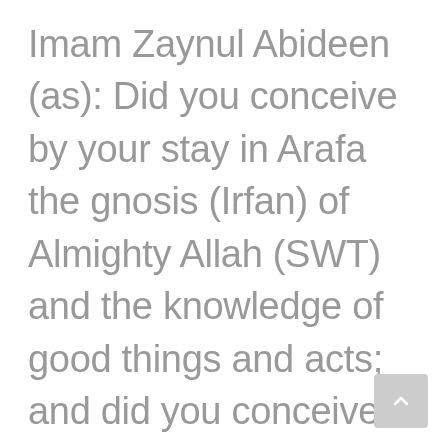Imam Zaynul Abideen (as): Did you conceive by your stay in Arafa the gnosis (Irfan) of Almighty Allah (SWT) and the knowledge of good things and acts; and did you conceive that your book of deeds was in the hands of Allah (SWT) and